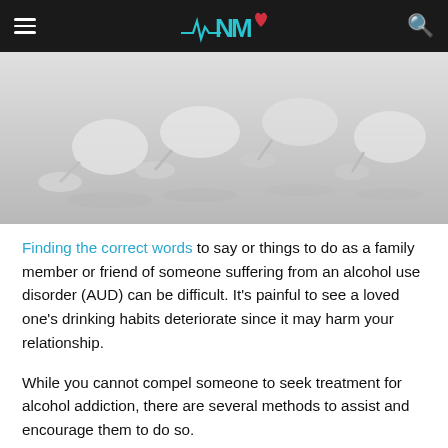NMB (logo)
[Figure (photo): Several empty wine glasses lying on their sides on a white surface, casting shadows.]
Finding the correct words to say or things to do as a family member or friend of someone suffering from an alcohol use disorder (AUD) can be difficult. It's painful to see a loved one's drinking habits deteriorate since it may harm your relationship.
While you cannot compel someone to seek treatment for alcohol addiction, there are several methods to assist and encourage them to do so.